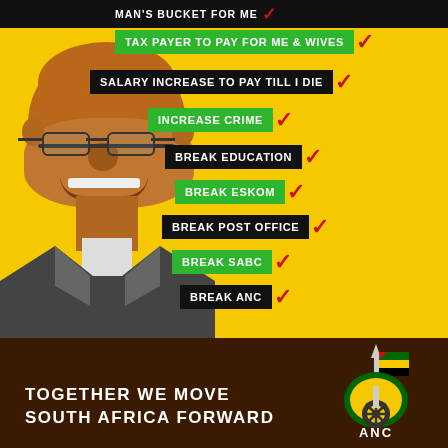[Figure (infographic): Political satire infographic featuring a photo of a person (implied South African president Jacob Zuma) on a yellow background with a checklist of negative accomplishments and the ANC party logo at the bottom.]
TAX PAYER TO PAY FOR ME & WIVES ✓
SALARY INCREASE TO PAY TILL I DIE ✓
INCREASE CRIME ✓
BREAK EDUCATION ✓
BREAK ESKOM ✓
BREAK POST OFFICE ✓
BREAK SABC ✓
BREAK ANC ✓
TOGETHER WE MOVE SOUTH AFRICA FORWARD
[Figure (logo): ANC (African National Congress) party logo with spear, shield, flag, and wheel/cogwheel]